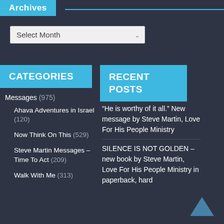Archives
Select Month
CATEGORIES
RECENT POSTS
Messages (975)
Ahava Adventures in Israel (120)
Now Think On This (529)
Steve Martin Messages – Time To Act (209)
Walk With Me (313)
“He is worthy of it all.” New message by Steve Martin, Love For His People Ministry
SILENCE IS NOT GOLDEN – new book by Steve Martin, Love For His People Ministry in paperback, hard